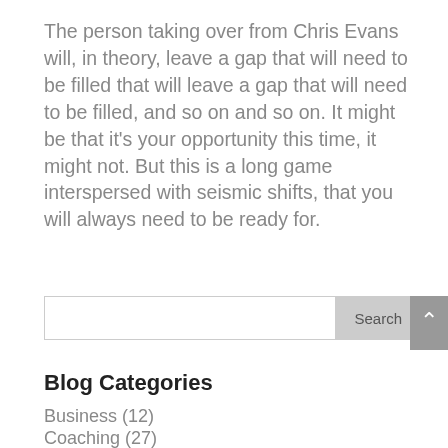The person taking over from Chris Evans will, in theory, leave a gap that will need to be filled that will leave a gap that will need to be filled, and so on and so on. It might be that it's your opportunity this time, it might not. But this is a long game interspersed with seismic shifts, that you will always need to be ready for.
Blog Categories
Business (12)
Coaching (27)
On Air (34)